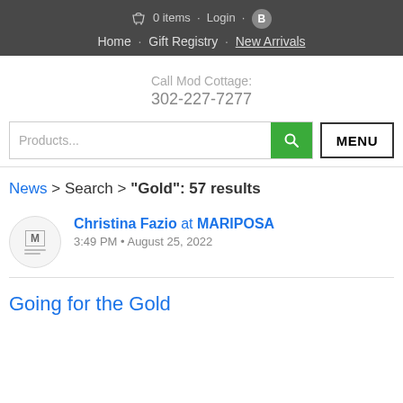0 items · Login · B
Home · Gift Registry · New Arrivals
Call Mod Cottage:
302-227-7277
Products... [search] MENU
News > Search > "Gold": 57 results
Christina Fazio at MARIPOSA
3:49 PM • August 25, 2022
Going for the Gold